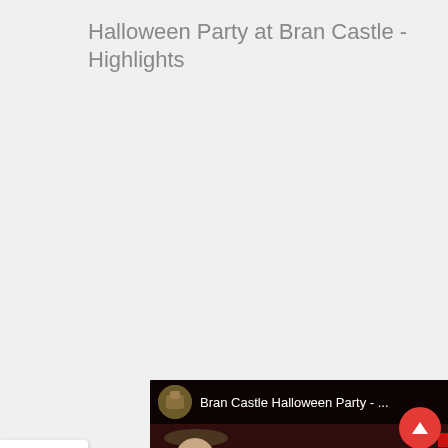Halloween Party at Bran Castle - Highlights
[Figure (screenshot): Embedded YouTube video player showing 'Bran Castle Halloween Party - ...' with a thumbnail of four costumed party-goers (one in a cowboy/pirate hat with red bandana, one in white traditional costume, one in black dress with gold headband, one in red and gold king costume). A red YouTube play button is visible in the center. Subtitle text reads 'he king is here!'. A social sharing sidebar is on the left with 0 Shares, Facebook, Twitter, Pinterest, and more buttons. A scroll-to-top red circular button is at bottom right.]